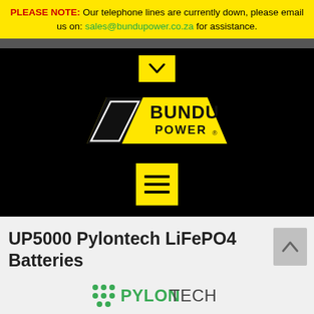PLEASE NOTE: Our telephone lines are currently down, please email us on: sales@bundupower.co.za for assistance.
[Figure (logo): Bundu Power logo on black background with chevron navigation button and hamburger menu button]
UP5000 Pylontech LiFePO4 Batteries
[Figure (logo): Pylontech logo with green dot grid icon and PYLONTECH text]
You are here: Products > Solar > Batteries > UP5000